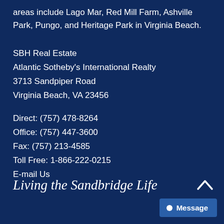areas include Lago Mar, Red Mill Farm, Ashville Park, Pungo, and Heritage Park in Virginia Beach.
SBH Real Estate
Atlantic Sotheby's International Realty
3713 Sandpiper Road
Virginia Beach, VA 23456
Direct: (757) 478-8264
Office: (757) 447-3600
Fax: (757) 213-4585
Toll Free: 1-866-222-0215
E-mail Us
Living the Sandbridge Life
Message